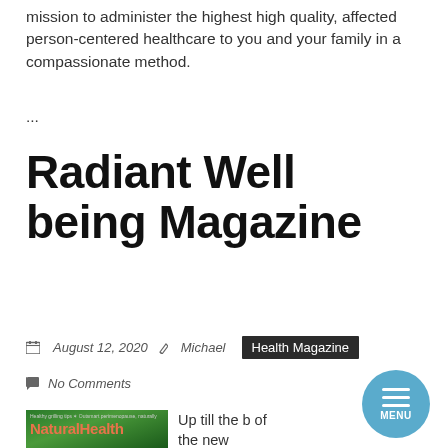mission to administer the highest high quality, affected person-centered healthcare to you and your family in a compassionate method.
...
Radiant Well being Magazine
August 12, 2020  Michael  Health Magazine  No Comments
[Figure (screenshot): Natural Health magazine cover thumbnail with green background and salmon-colored title text, with small header text: 'Healthy grilling tips * Outsmart perimenopause, naturally']
Up till the b of the new